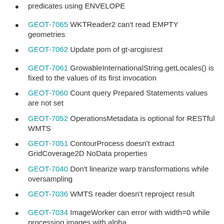predicates using ENVELOPE
GEOT-7065 WKTReader2 can't read EMPTY geometries
GEOT-7062 Update pom of gt-arcgisrest
GEOT-7061 GrowableInternationalString.getLocales() is fixed to the values of its first invocation
GEOT-7060 Count query Prepared Statements values are not set
GEOT-7052 OperationsMetadata is optional for RESTful WMTS
GEOT-7051 ContourProcess doesn't extract GridCoverage2D NoData properties
GEOT-7040 Don't linearize warp transformations while oversampling
GEOT-7036 WMTS reader doesn't reproject result
GEOT-7034 ImageWorker can error with width=0 while processing images with alpha